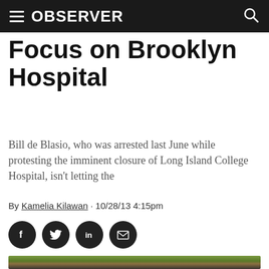OBSERVER
Focus on Brooklyn Hospital
Bill de Blasio, who was arrested last June while protesting the imminent closure of Long Island College Hospital, isn't letting the
By Kamelia Kilawan · 10/28/13 4:15pm
[Figure (other): Social sharing buttons: Facebook, Twitter, LinkedIn, Email]
[Figure (photo): Photo of Bill de Blasio speaking at a rally outside, with protesters holding signs including 'OUR LIVES' and 'GOVERNOR CUOMO: WE NEED HOSPITALS, NOT CONDO']